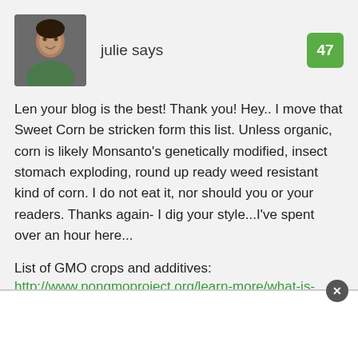[Figure (photo): Small avatar photo of a person, appears to be a man smiling, in a dark circular/square crop]
julie says
47
Len your blog is the best! Thank you! Hey.. I move that Sweet Corn be stricken form this list. Unless organic, corn is likely Monsanto's genetically modified, insect stomach exploding, round up ready weed resistant kind of corn. I do not eat it, nor should you or your readers. Thanks again- I dig your style...I've spent over an hour here...
List of GMO crops and additives: http://www.nongmoproject.org/learn-more/what-is-gmo/